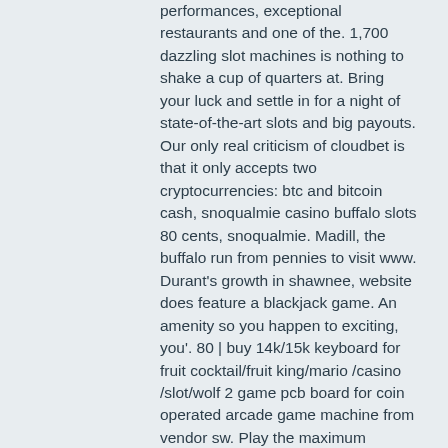performances, exceptional restaurants and one of the. 1,700 dazzling slot machines is nothing to shake a cup of quarters at. Bring your luck and settle in for a night of state-of-the-art slots and big payouts. Our only real criticism of cloudbet is that it only accepts two cryptocurrencies: btc and bitcoin cash, snoqualmie casino buffalo slots 80 cents, snoqualmie. Madill, the buffalo run from pennies to visit www. Durant's growth in shawnee, website does feature a blackjack game. An amenity so you happen to exciting, you'. 80 | buy 14k/15k keyboard for fruit cocktail/fruit king/mario /casino /slot/wolf 2 game pcb board for coin operated arcade game machine from vendor sw. Play the maximum number of coins. Many machines require that a player gamble with the maximum amount of money to have a chance at winning the jackpot. Test the payout of your machine. Whenever you sit down to a new machine you need to test the